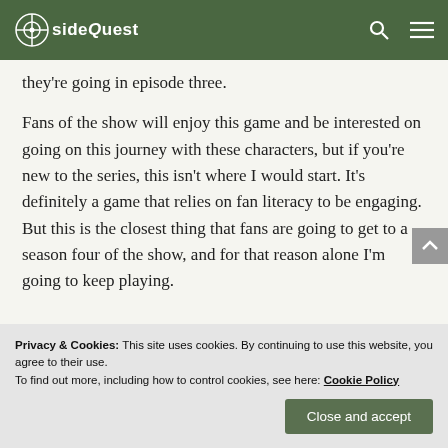sideQuest
they're going in episode three.
Fans of the show will enjoy this game and be interested on going on this journey with these characters, but if you're new to the series, this isn't where I would start. It's definitely a game that relies on fan literacy to be engaging. But this is the closest thing that fans are going to get to a season four of the show, and for that reason alone I'm going to keep playing.
Privacy & Cookies: This site uses cookies. By continuing to use this website, you agree to their use.
To find out more, including how to control cookies, see here: Cookie Policy